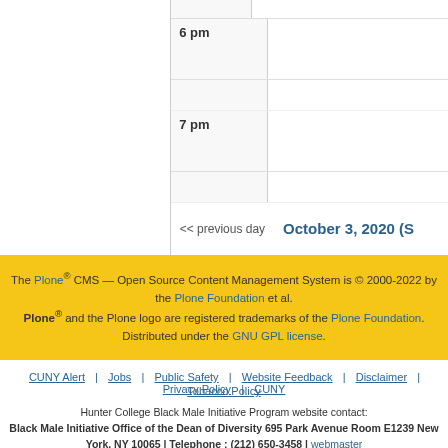| Time | Events |
| --- | --- |
|  |  |
| 6 pm |  |
| 7 pm |  |
<< previous day   October 3, 2020 (S...
The Plone® CMS — Open Source Content Management System is © 2000-2022 by the Plone Foundation et al. Plone® and the Plone logo are registered trademarks of the Plone Foundation. Distributed under the GNU GPL license.
CUNY Alert | Jobs | Public Safety | Website Feedback | Disclaimer | Privacy Policy | CUNY | Tobacco Policy
Hunter College Black Male Initiative Program website contact: Black Male Initiative Office of the Dean of Diversity 695 Park Avenue Room E1239 New York, NY 10065 | Telephone : (212) 650-3458 | webmaster